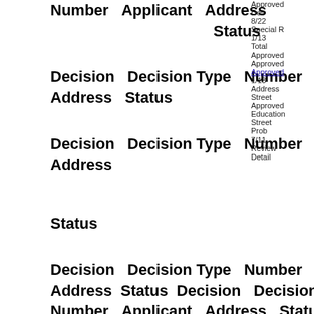Number Applicant Address Status Decision Type
Decision Decision Type Number Applicant 8/22 Address Status Special R
Decision Decision Type Number Applicant 1/13 Address Status Approved Approved Approved
Decision Decision Type Number Applicant 1/13 Address Status Decision Decision Type Number Applicant Address Status Decision Decision Type Number Applicant Address Status Decision Decision Type Number Applicant Address Status
Decision Decision Type Number Applicant 7/11 Address Status Decision Decision Type Number Applicant Address Status Decision Decision Type Number Applicant Address